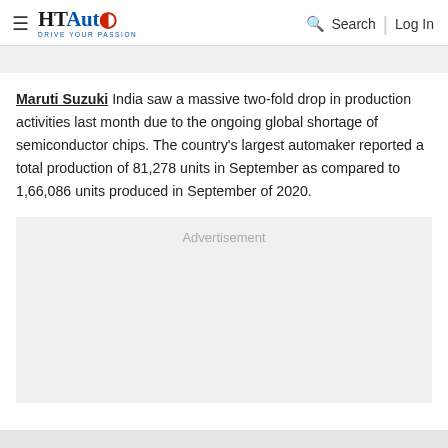HT Auto — Drive Your Passion | Search | Log In
Maruti Suzuki India saw a massive two-fold drop in production activities last month due to the ongoing global shortage of semiconductor chips. The country's largest automaker reported a total production of 81,278 units in September as compared to 1,66,086 units produced in September of 2020.
[Figure (other): Advertisement placeholder block]